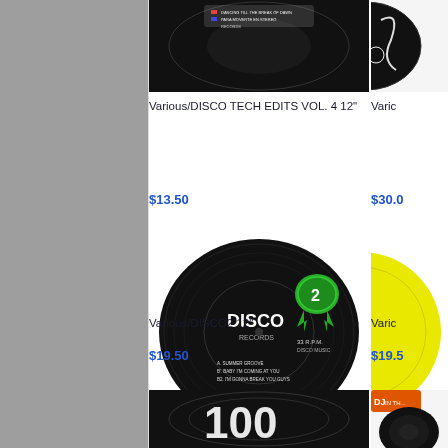[Figure (photo): Vinyl record album cover for DISCO TECH EDITS VOL. 4 showing a black vinyl record with colored track listing sticker]
Various/DISCO TECH EDITS VOL. 4 12"
$13.50
[Figure (photo): Partial view of another vinyl record product on the right side]
Varic
$30.0
[Figure (photo): Black vinyl record labeled DISCO2 with green badge showing number 2, tracklist including SUMMER GROOVE, BABY I'M COMING AT YOU, I'M GONNA BREAK YOU GUYS]
[Figure (photo): Partial yellow vinyl record visible on right side]
Various/DISCO2 12"
$19.50
Varic
$19.5
[Figure (photo): Black vinyl record with large white 100 text and circular groove pattern]
[Figure (photo): Partial view of album with orange DJ badge and vinyl record visible]